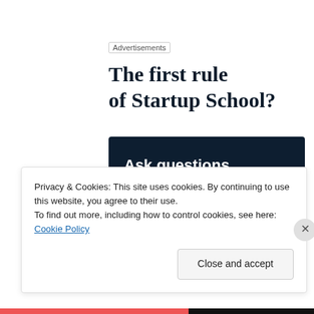Advertisements
The first rule of Startup School?
[Figure (illustration): Dark navy advertisement banner with white bold text 'Ask questions.' and a pink 'Start a survey' button, with WordPress and brand logos at bottom right.]
Privacy & Cookies: This site uses cookies. By continuing to use this website, you agree to their use.
To find out more, including how to control cookies, see here: Cookie Policy
Close and accept